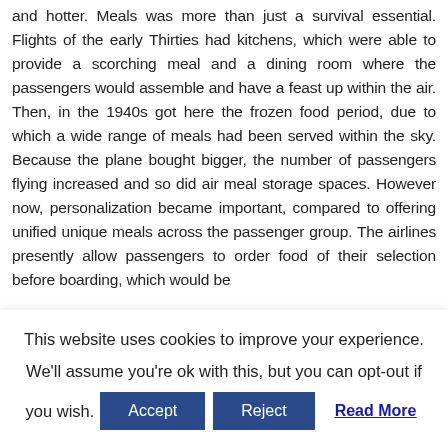and hotter. Meals was more than just a survival essential. Flights of the early Thirties had kitchens, which were able to provide a scorching meal and a dining room where the passengers would assemble and have a feast up within the air. Then, in the 1940s got here the frozen food period, due to which a wide range of meals had been served within the sky. Because the plane bought bigger, the number of passengers flying increased and so did air meal storage spaces. However now, personalization became important, compared to offering unified unique meals across the passenger group. The airlines presently allow passengers to order food of their selection before boarding, which would be
This website uses cookies to improve your experience. We'll assume you're ok with this, but you can opt-out if you wish.